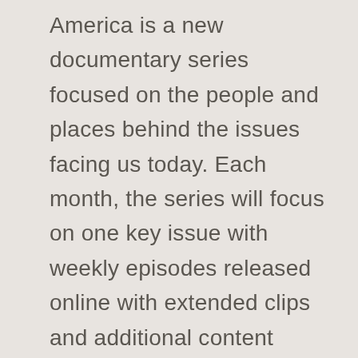America is a new documentary series focused on the people and places behind the issues facing us today. Each month, the series will focus on one key issue with weekly episodes released online with extended clips and additional content supported through multiple social platforms. Each episode will include stories profiling everyday people as well as conversational interviews with thought leaders and changemakers cut into short, engaging pieces that allow viewers to experience familiar issues from fresh perspectives. The focus will be on better questions rather than easy answers, opening the door to continued conversation and engagement each week as the show unfolds.